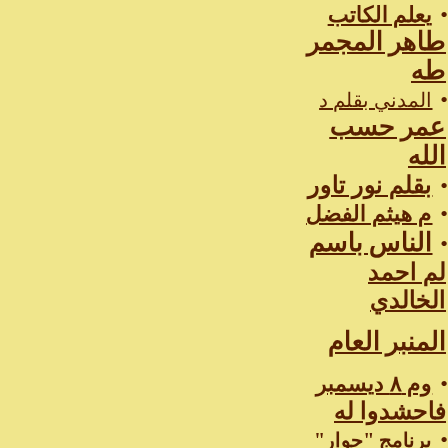يعلم الكاتب
طاهر المجمر طه
المدني بقلم د
عمر حسب الله
بقلم نور تاور
م هيثم الفضل
الناس باسم
لم احمد الخالدي
المنبر العام
وم ٨ ديسمبر فاحشدوا له
برنامج "حوار" قناة الشرقية نيوز
ع((الشارع))لو
ف((الشار))